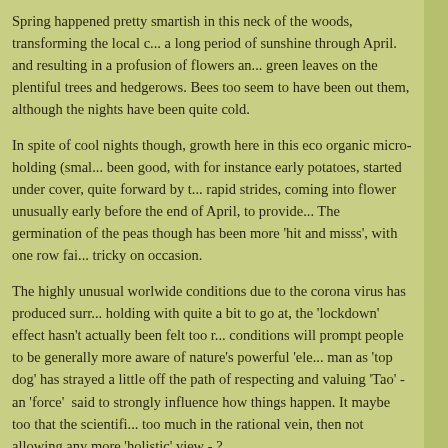Spring happened pretty smartish in this neck of the woods, transforming the local c... a long period of sunshine through April. and resulting in a profusion of flowers an... green leaves on the plentiful trees and hedgerows. Bees too seem to have been out them, although the nights have been quite cold.
In spite of cool nights though, growth here in this eco organic micro-holding (smal... been good, with for instance early potatoes, started under cover, quite forward by t... rapid strides, coming into flower unusually early before the end of April, to provide... The germination of the peas though has been more 'hit and misss', with one row fai... tricky on occasion.
The highly unusual worlwide conditions due to the corona virus has produced surr... holding with quite a bit to go at, the 'lockdown' effect hasn't actually been felt too r... conditions will prompt people to be generally more aware of nature's powerful 'ele... man as 'top dog' has strayed a little off the path of respecting and valuing 'Tao' -an 'force' said to strongly influence how things happen. It maybe too that the scientifi... too much in the rational vein, then not allowing any more 'holistic' view - ?
[Read more →]
Tags: Eco-holding husbandries · Free Range Living
'Higher Planes --- '
April 27, 2020